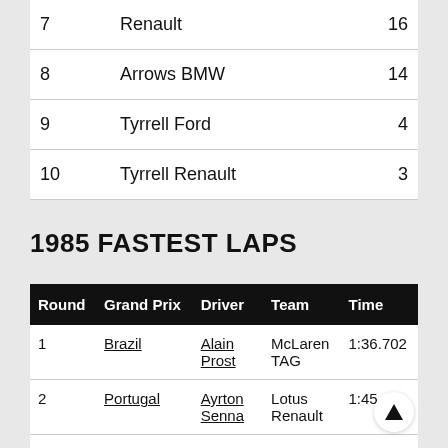|  |  |  |
| --- | --- | --- |
| 7 | Renault | 16 |
| 8 | Arrows BMW | 14 |
| 9 | Tyrrell Ford | 4 |
| 10 | Tyrrell Renault | 3 |
1985 FASTEST LAPS
| Round | Grand Prix | Driver | Team | Time |
| --- | --- | --- | --- | --- |
| 1 | Brazil | Alain Prost | McLaren TAG | 1:36.702 |
| 2 | Portugal | Ayrton Senna | Lotus Renault | 1:45.… |
| 3 | San Marino | Michele | Ferrari | 1:30.961 |